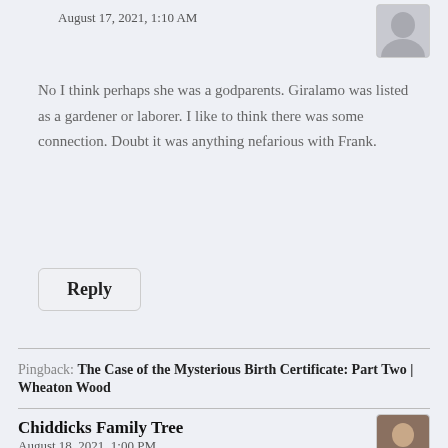August 17, 2021, 1:10 AM
[Figure (photo): Avatar photo of commenter, top right]
No I think perhaps she was a godparents. Giralamo was listed as a gardener or laborer. I like to think there was some connection. Doubt it was anything nefarious with Frank.
Reply
Pingback: The Case of the Mysterious Birth Certificate: Part Two | Wheaton Wood
Chiddicks Family Tree
August 18, 2021, 1:00 PM
[Figure (photo): Avatar photo of Chiddicks Family Tree commenter, bottom right]